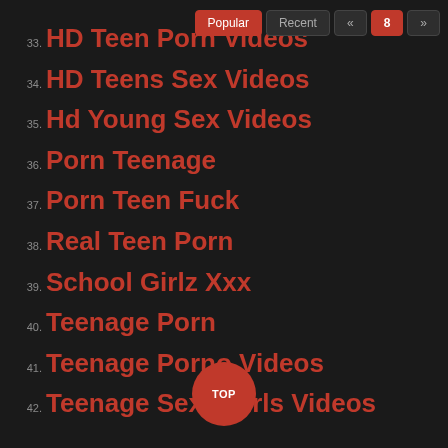Popular | Recent | « | 8 | »
33. HD Teen Porn Videos
34. HD Teens Sex Videos
35. Hd Young Sex Videos
36. Porn Teenage
37. Porn Teen Fuck
38. Real Teen Porn
39. School Girlz Xxx
40. Teenage Porn
41. Teenage Porno Videos
42. Teenage Sexy Girls Videos